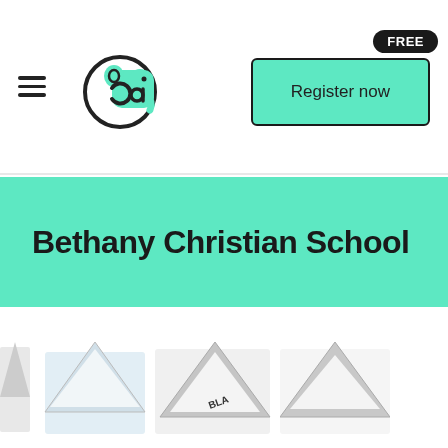[Figure (logo): ClassAce elephant logo with circular 'ca' text mark in mint green and black]
[Figure (other): FREE badge (black pill shape) above a mint green Register now button with black border]
Bethany Christian School
[Figure (photo): Partial product/book covers shown in a horizontal strip at the bottom, including items with triangular shapes and one labeled BLA...]